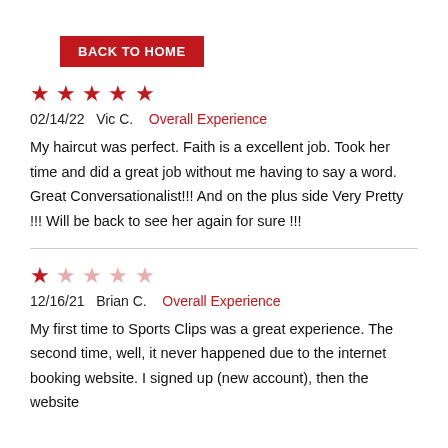BACK TO HOME
★★★★★
02/14/22  Vic C.   Overall Experience
My haircut was perfect. Faith is a excellent job. Took her time and did a great job without me having to say a word. Great Conversationalist!!! And on the plus side Very Pretty !!! Will be back to see her again for sure !!!
★☆☆☆☆
12/16/21  Brian C.   Overall Experience
My first time to Sports Clips was a great experience. The second time, well, it never happened due to the internet booking website. I signed up (new account), then the website